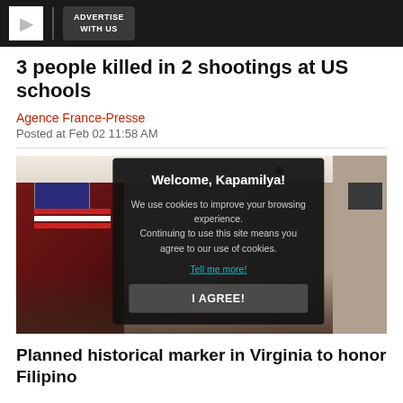ADVERTISE WITH US
3 people killed in 2 shootings at US schools
Agence France-Presse
Posted at Feb 02 11:58 AM
[Figure (photo): Room with people seated, US flag visible on the left wall, with a cookie consent dialog overlay reading 'Welcome, Kapamilya! We use cookies to improve your browsing experience. Continuing to use this site means you agree to our use of cookies. Tell me more! I AGREE!']
Planned historical marker in Virginia to honor Filipino